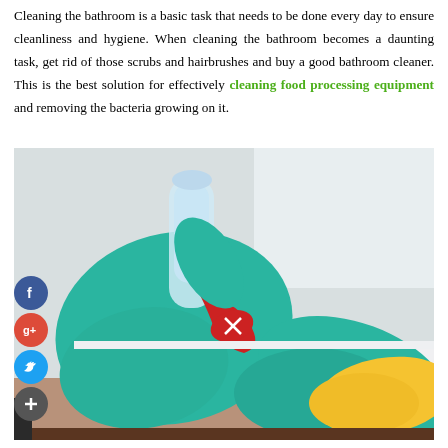Cleaning the bathroom is a basic task that needs to be done every day to ensure cleanliness and hygiene. When cleaning the bathroom becomes a daunting task, get rid of those scrubs and hairbrushes and buy a good bathroom cleaner. This is the best solution for effectively cleaning food processing equipment and removing the bacteria growing on it.
[Figure (photo): Photo of green rubber-gloved hands holding a red spray bottle trigger and a yellow cleaning cloth on a white surface. Social media share icons (Facebook, Google+, Twitter, Plus) overlaid on the left side.]